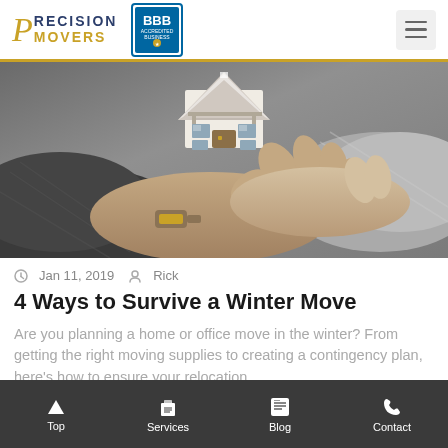PRECISION MOVERS - BBB Accredited Business
[Figure (photo): Two hands exchanging a miniature house model — one hand wearing a watch and knit sweater, one hand in a grey knit sleeve — set against a grey background, representing a real estate or moving transaction.]
Jan 11, 2019  Rick
4 Ways to Survive a Winter Move
Are you planning a home or office move in the winter? From getting the right moving supplies to creating a contingency plan, here's how to ensure your relocation
Top  Services  Blog  Contact